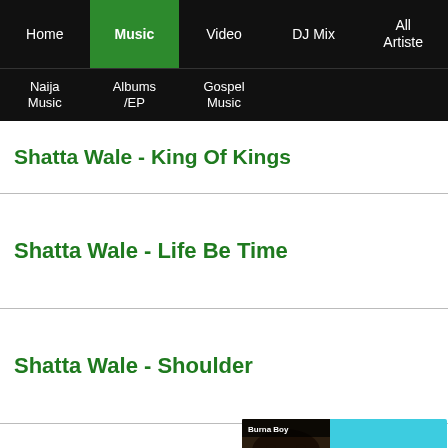Home | Music | Video | DJ Mix | All Artiste | Naija Music | Albums /EP | Gospel Music
Shatta Wale - King Of Kings
Shatta Wale - Life Be Time
Shatta Wale - Shoulder
Shatta Wale - [partially obscured by ad]
[Figure (screenshot): Boomplay advertisement banner: 'FREE MUSIC - Get it on Boomplay' with a photo of Burna Boy on the left side, cyan/teal background.]